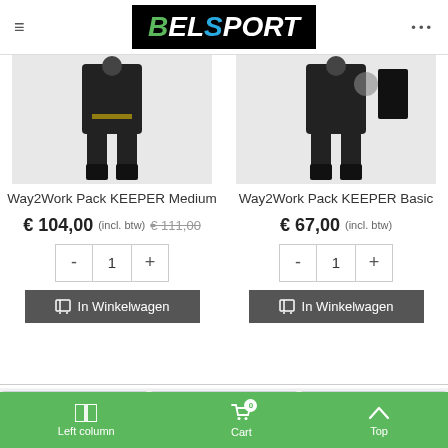BELSPORT
[Figure (photo): Product image of Way2Work Pack KEEPER Medium - sports keeper pack showing uniform pieces]
Way2Work Pack KEEPER Medium
€ 104,00 (incl. btw) € 111,00
In Winkelwagen
[Figure (photo): Product image of Way2Work Pack KEEPER Basic - sports keeper pack showing uniform pieces]
Way2Work Pack KEEPER Basic
€ 67,00 (incl. btw)
In Winkelwagen
[Figure (photo): Bottom row of product thumbnails showing sports clothing items]
Left column  Cart 0  Top